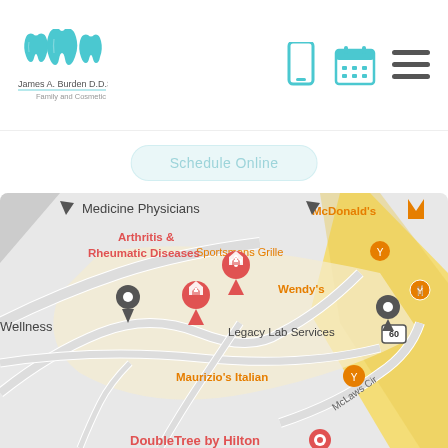[Figure (logo): Teal tooth/dental logo icon with three teeth]
James A. Burden D.D.S. & Associates
Family and Cosmetic Dentistry
[Figure (other): Phone icon (teal), calendar icon (teal), and hamburger menu icon (dark gray) in header]
Schedule Online
[Figure (map): Google Maps screenshot showing location near Medicine Physicians, Arthritis & Rheumatic Diseases, Sportsmans Grille, McDonald's, Wendy's, Legacy Lab Services, Maurizio's Italian, McLaws Cir, with red medical map pins and gray location pin. Route 60 visible. DoubleTre by Hilton partially visible at bottom.]